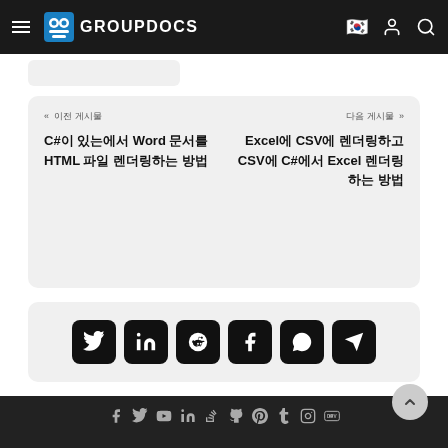GROUPDOCS
« 이전 게시물
C#이 있는에서 Word 문서를 HTML 파일 렌더링하는 방법
다음 게시물 »
Excel에 CSV에 렌더링하고 CSV에 C#에서 Excel 렌더링하는 방법
[Figure (infographic): Social share buttons row: Twitter, LinkedIn, Reddit, Facebook, WhatsApp, Telegram]
Social media icons footer row: Facebook, Twitter, YouTube, LinkedIn, StackOverflow, GitHub, Pinterest, Tumblr, Instagram, DEV